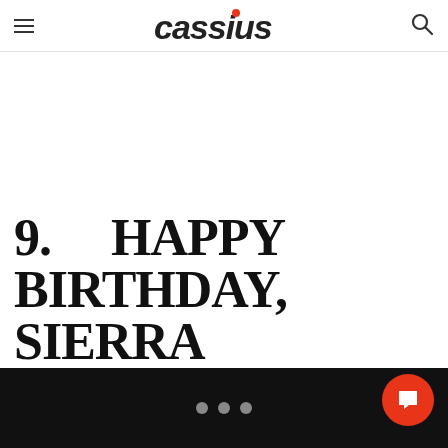cassius
[Figure (other): Loading indicator with three gray dots centered in white content area]
9. HAPPY BIRTHDAY, SIERRA
... (three dots pagination footer on dark bar)